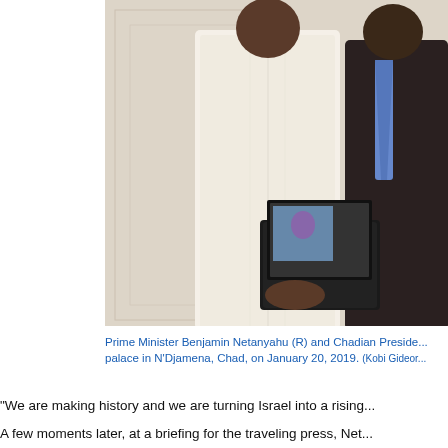[Figure (photo): Prime Minister Benjamin Netanyahu (R) and Chadian President at a palace in N'Djamena, Chad, on January 20, 2019. Two men standing, one in white traditional attire holding a book/photo album, another in dark suit with blue tie.]
Prime Minister Benjamin Netanyahu (R) and Chadian Preside... palace in N'Djamena, Chad, on January 20, 2019. (Kobi Gideor...
“We are making history and we are turning Israel into a rising...
A few moments later, at a briefing for the traveling press, Net... Israel break the ice with Muslim-majority states in Africa that...
“This visit first and foremost teaches us about our standing in... say this unofficially, there was some support.”
He declined to say which countries expressed support for Ch...